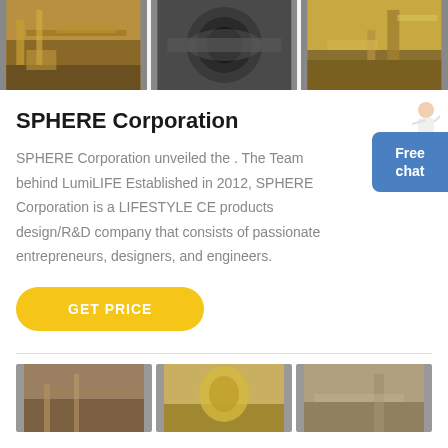[Figure (photo): Three industrial/mining equipment photos arranged horizontally at top of page]
SPHERE Corporation
SPHERE Corporation unveiled the . The Team behind LumiLIFE Established in 2012, SPHERE Corporation is a LIFESTYLE CE products design/R&D company that consists of passionate entrepreneurs, designers, and engineers.
[Figure (infographic): Yellow rounded button labeled GET PRICE]
[Figure (infographic): Blue Free chat widget with person illustration on right side]
[Figure (photo): Three industrial/mining equipment photos arranged horizontally at bottom of page, partially visible]